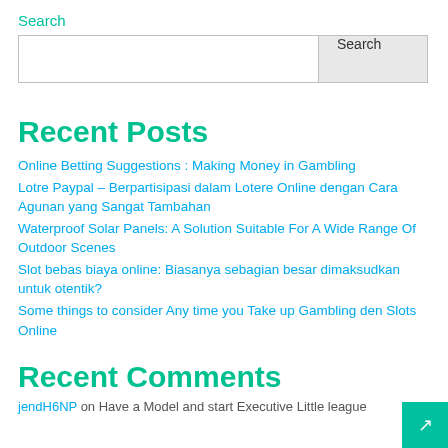Search
[Search input box with Search button]
Recent Posts
Online Betting Suggestions : Making Money in Gambling
Lotre Paypal – Berpartisipasi dalam Lotere Online dengan Cara Agunan yang Sangat Tambahan
Waterproof Solar Panels: A Solution Suitable For A Wide Range Of Outdoor Scenes
Slot bebas biaya online: Biasanya sebagian besar dimaksudkan untuk otentik?
Some things to consider Any time you Take up Gambling den Slots Online
Recent Comments
jendH6NP on Have a Model and start Executive Little league